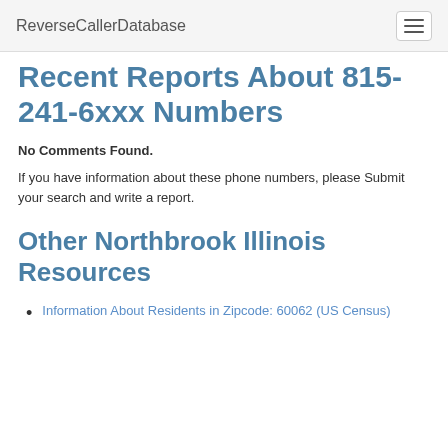ReverseCallerDatabase
Recent Reports About 815-241-6xxx Numbers
No Comments Found.
If you have information about these phone numbers, please Submit your search and write a report.
Other Northbrook Illinois Resources
Information About Residents in Zipcode: 60062 (US Census)